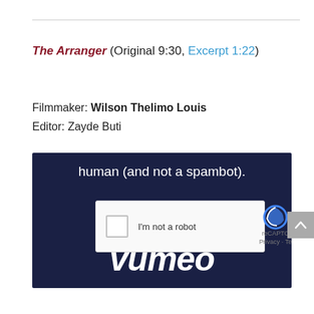The Arranger (Original 9:30, Excerpt 1:22)
Filmmaker: Wilson Thelimo Louis
Editor: Zayde Buti
[Figure (screenshot): Screenshot of a Vimeo video page overlaid with a reCAPTCHA 'I'm not a robot' widget. The background shows a dark navy Vimeo player with the Vimeo logo and text 'human (and not a spambot).' visible. A reCAPTCHA checkbox widget appears in the center with the text 'I'm not a robot' and the reCAPTCHA logo. A gray scroll-up button appears on the right edge.]